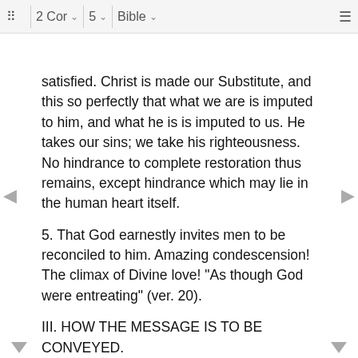⠿ 2 Cor ∨ 5 ∨ Bible ∨ ≡
satisfied. Christ is made our Substitute, and this so perfectly that what we are is imputed to him, and what he is is imputed to us. He takes our sins; we take his righteousness. No hindrance to complete restoration thus remains, except hindrance which may lie in the human heart itself.
5. That God earnestly invites men to be reconciled to him. Amazing condescension! The climax of Divine love! "As though God were entreating" (ver. 20).
III. HOW THE MESSAGE IS TO BE CONVEYED.
1. With courtesy.
2. With intense earnestness. It is momentous. What issues depend upon its acceptance or